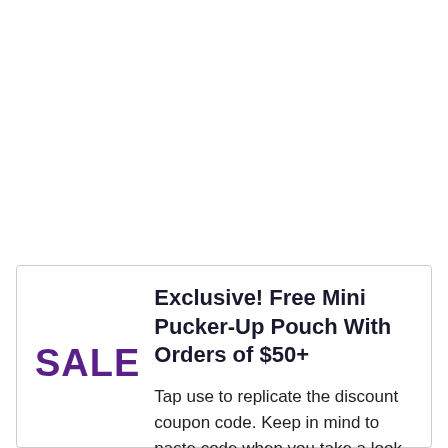Exclusive! Free Mini Pucker-Up Pouch With Orders of $50+
SALE
Tap use to replicate the discount coupon code. Keep in mind to paste code when you take a look at. Online